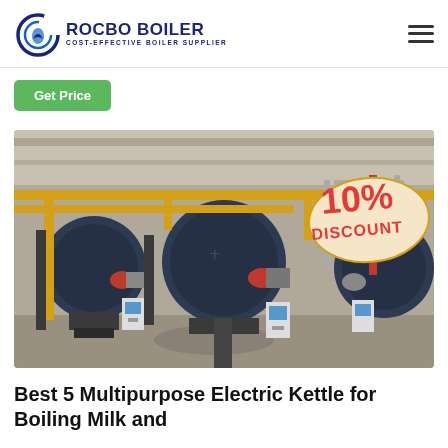ROCBO BOILER — COST-EFFECTIVE BOILER SUPPLIER
Get Price
[Figure (photo): Industrial boiler room with multiple large cylindrical boilers in dark blue, connected by yellow and grey pipes. A '10% DISCOUNT' sticker badge is overlaid on the top-right corner of the image.]
Best 5 Multipurpose Electric Kettle for Boiling Milk and